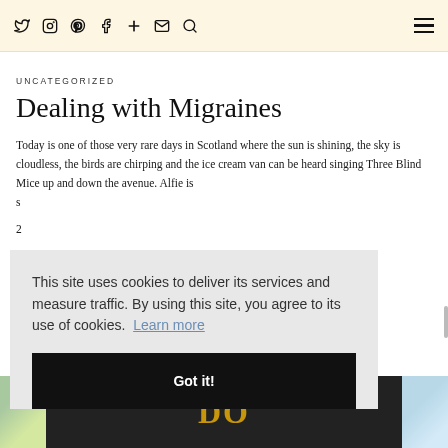Twitter Instagram Pinterest Facebook + Email Search [hamburger menu]
UNCATEGORIZED
Dealing with Migraines
Today is one of those very rare days in Scotland where the sun is shining, the sky is cloudless, the birds are chirping and the ice cream van can be heard singing Three Blind Mice up and down the avenue. Alfie is
[Figure (screenshot): Cookie consent overlay with message: 'This site uses cookies to deliver its services and measure traffic. By using this site, you agree to its use of cookies. Learn more' and a black 'Got it!' button]
[Figure (photo): Bottom strip showing partial book cover images: colorful illustration on left, dark background with gold text 'DO' in center, light colored image on right]